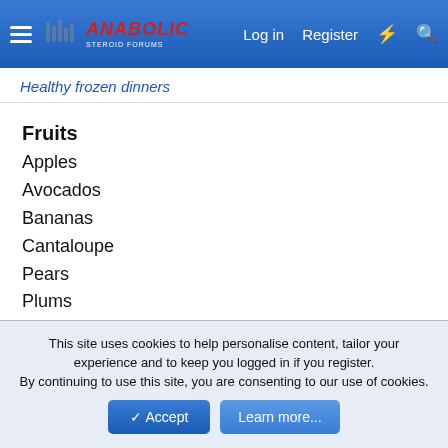Anabolic Steroid Forums — Log in | Register
Healthy frozen dinners
Fruits
Apples
Avocados
Bananas
Cantaloupe
Pears
Plums
Graps
Kiwi fruit
Apricots
Nectarines
Peaches
This site uses cookies to help personalise content, tailor your experience and to keep you logged in if you register.
By continuing to use this site, you are consenting to our use of cookies.